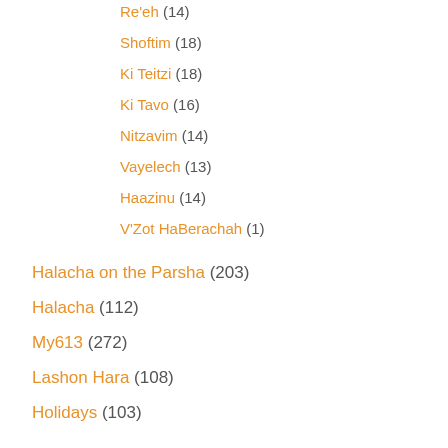Re'eh (14)
Shoftim (18)
Ki Teitzi (18)
Ki Tavo (16)
Nitzavim (14)
Vayelech (13)
Haazinu (14)
V'Zot HaBerachah (1)
Halacha on the Parsha (203)
Halacha (112)
My613 (272)
Lashon Hara (108)
Holidays (103)